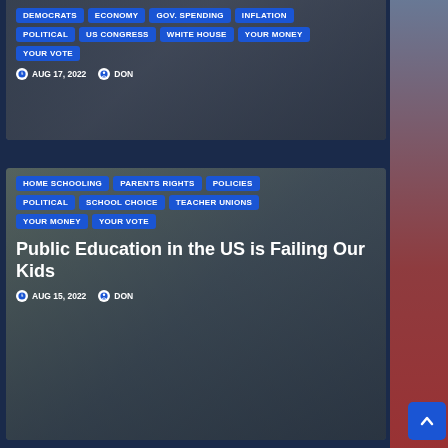[Figure (photo): Top article card with dark background showing money/currency image]
DEMOCRATS
ECONOMY
GOV. SPENDING
INFLATION
POLITICAL
US CONGRESS
WHITE HOUSE
YOUR MONEY
YOUR VOTE
AUG 17, 2022  DON
[Figure (photo): Bottom article card showing a child in a school classroom wearing a mask]
HOME SCHOOLING
PARENTS RIGHTS
POLICIES
POLITICAL
SCHOOL CHOICE
TEACHER UNIONS
YOUR MONEY
YOUR VOTE
Public Education in the US is Failing Our Kids
AUG 15, 2022  DON